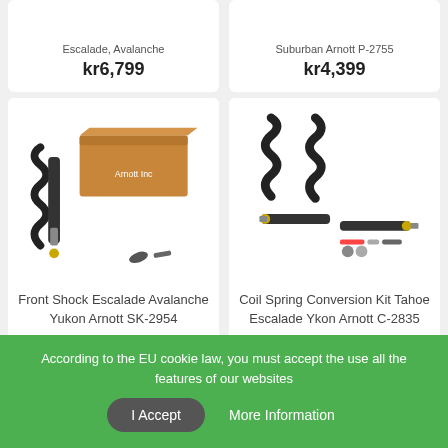Escalade, Avalanche
kr6,799
Suburban Arnott P-2755
kr4,399
[Figure (photo): Front shock absorber assembly with coil spring and hardware, Arnott branded box visible behind]
Front Shock Escalade Avalanche Yukon Arnott SK-2954
kr3,599
[Figure (photo): Coil spring conversion kit with two coil springs and shock absorbers laid out]
Coil Spring Conversion Kit Tahoe Escalade Ykon Arnott C-2835
kr8,999
According to the EU cookie law, you must accept the use all the features of our websites
I Accept
More Information